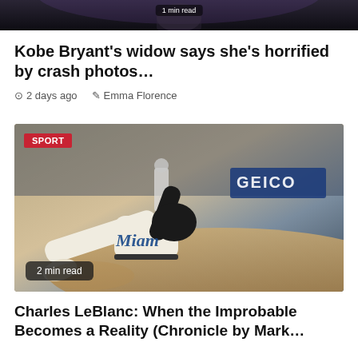[Figure (photo): Top strip of a dark image showing partial figure, with '1 min read' badge overlay]
Kobe Bryant's widow says she's horrified by crash photos…
2 days ago   Emma Florence
[Figure (photo): Baseball player in Miami Marlins uniform sliding into base, with SPORT badge and GEICO advertisement in background, 2 min read badge]
Charles LeBlanc: When the Improbable Becomes a Reality (Chronicle by Mark…